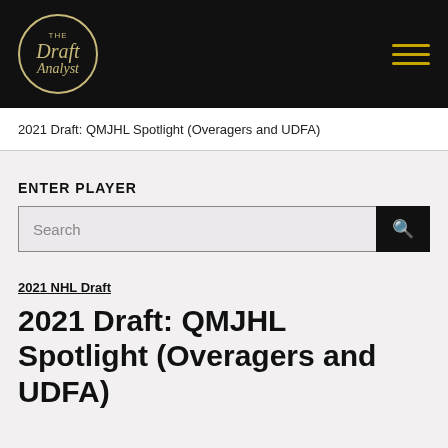[Figure (logo): The Draft Analyst circular logo in gold on black background, with hamburger menu icon on the right]
2021 Draft: QMJHL Spotlight (Overagers and UDFA)
ENTER PLAYER
Search
2021 NHL Draft
2021 Draft: QMJHL Spotlight (Overagers and UDFA)